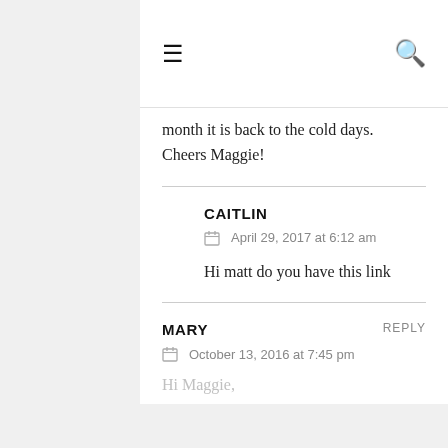☰  🔍
month it is back to the cold days.
Cheers Maggie!
CAITLIN
April 29, 2017 at 6:12 am
Hi matt do you have this link
MARY
REPLY
October 13, 2016 at 7:45 pm
Hi Maggie,